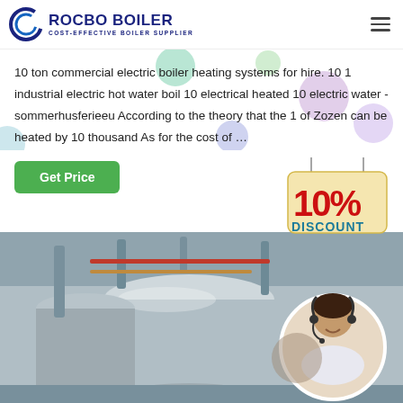ROCBO BOILER — COST-EFFECTIVE BOILER SUPPLIER
10 ton commercial electric boiler heating systems for hire. 10 1 industrial electric hot water boil 10 electrical heated 10 electric water - sommerhusferieeu According to the theory that the 1 of Zozen can be heated by 10 thousand As for the cost of …
[Figure (other): Green 'Get Price' button]
[Figure (infographic): 10% DISCOUNT sign badge]
[Figure (photo): Industrial boiler tanks in a facility, with a circular inset of a customer service representative wearing a headset]